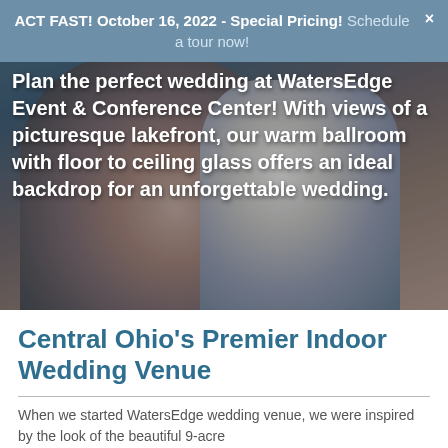ACT FAST! October 16, 2022 - Special Pricing! Schedule a tour now!
[Figure (photo): Wedding couple embracing, used as hero background image for WatersEdge Event & Conference Center wedding venue page]
Plan the perfect wedding at WatersEdge Event & Conference Center! With views of a picturesque lakefront, our warm ballroom with floor to ceiling glass offers an ideal backdrop for an unforgettable wedding.
Central Ohio's Premier Indoor Wedding Venue
When we started WatersEdge wedding venue, we were inspired by the look of the beautiful 9-acre